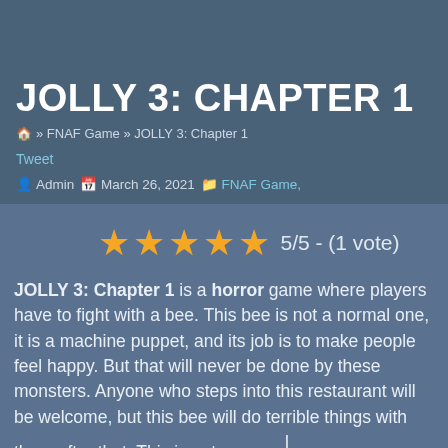JOLLY 3: CHAPTER 1
🏠 » FNAF Game » JOLLY 3: Chapter 1
Tweet
Admin   March 26, 2021   FNAF Game,
[Figure (other): 5 gold star rating icons with text '5/5 - (1 vote)']
JOLLY 3: Chapter 1 is a horror game where players have to fight with a bee. This bee is not a normal one, it is a machine puppet, and its job is to make people feel happy. But that will never be done by these monsters. Anyone who steps into this restaurant will be welcome, but this bee will do terrible things with them after that. This is not a normal